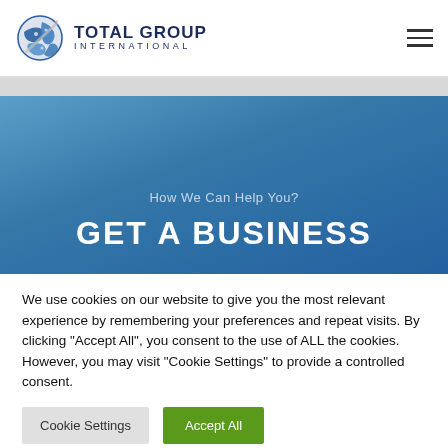[Figure (logo): Total Group International logo with globe icon and company name]
How We Can Help You?
GET A BUSINESS
We use cookies on our website to give you the most relevant experience by remembering your preferences and repeat visits. By clicking "Accept All", you consent to the use of ALL the cookies. However, you may visit "Cookie Settings" to provide a controlled consent.
Cookie Settings | Accept All